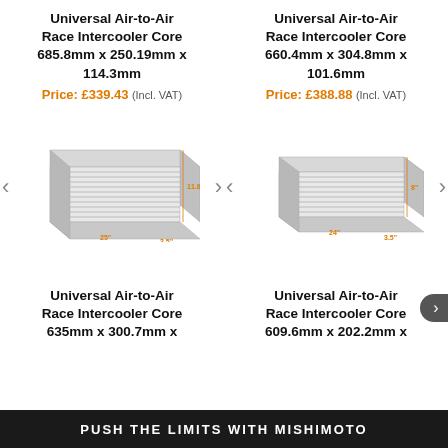Universal Air-to-Air Race Intercooler Core 685.8mm x 250.19mm x 114.3mm
Price: £339.43 (Incl. VAT)
Universal Air-to-Air Race Intercooler Core 660.4mm x 304.8mm x 101.6mm
Price: £388.88 (Incl. VAT)
[Figure (photo): Universal Air-to-Air Race Intercooler Core product image with orange dimension labels: 25" width, 3.5" depth, 11.8" height]
[Figure (photo): Universal Air-to-Air Race Intercooler Core product image with orange dimension labels: 24" width, 3.5" depth, 8" height]
Universal Air-to-Air Race Intercooler Core 635mm x 300.7mm x ...
Universal Air-to-Air Race Intercooler Core 609.6mm x 202.2mm x ...
PUSH THE LIMITS WITH MISHIMOTO